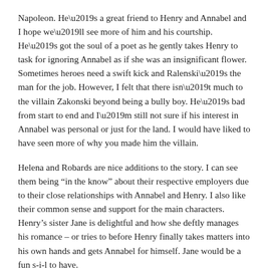Napoleon. He’s a great friend to Henry and Annabel and I hope we’ll see more of him and his courtship. He’s got the soul of a poet as he gently takes Henry to task for ignoring Annabel as if she was an insignificant flower. Sometimes heroes need a swift kick and Ralenski’s the man for the job. However, I felt that there isn’t much to the villain Zakonski beyond being a bully boy. He’s bad from start to end and I’m still not sure if his interest in Annabel was personal or just for the land. I would have liked to have seen more of why you made him the villain.
Helena and Robards are nice additions to the story. I can see them being “in the know” about their respective employers due to their close relationships with Annabel and Henry. I also like their common sense and support for the main characters. Henry’s sister Jane is delightful and how she deftly manages his romance – or tries to before Henry finally takes matters into his own hands and gets Annabel for himself. Jane would be a fun s-i-l to have.